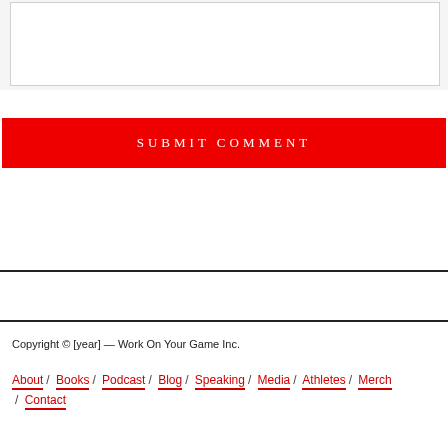[Figure (screenshot): Top gray area with white input/text box]
SUBMIT COMMENT
Copyright © [year] — Work On Your Game Inc.
About / Books / Podcast / Blog / Speaking / Media / Athletes / Merch / Contact